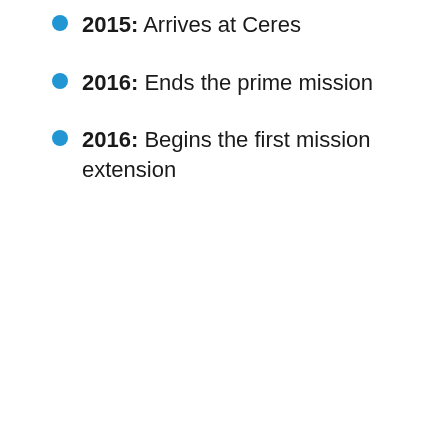2015: Arrives at Ceres
2016: Ends the prime mission
2016: Begins the first mission extension